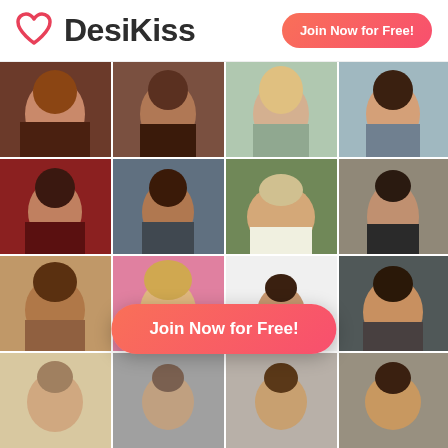[Figure (logo): DesiKiss heart logo icon in red/pink]
DesiKiss
Join Now for Free!
[Figure (photo): Grid of profile photos of people on DesiKiss dating site, 4 columns x 4 rows, with a 'Join Now for Free!' button overlay in the third row center]
Join Now for Free!